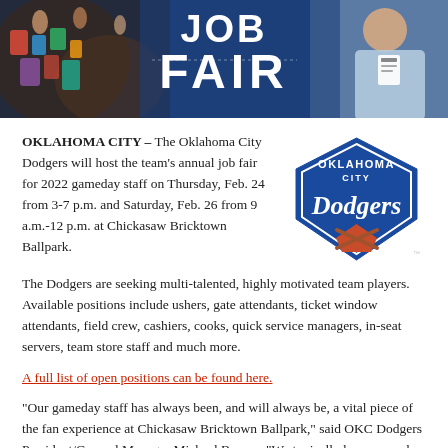[Figure (photo): Banner image showing job fair event with people on left side and a staff member on right, with large white text 'JOB FAIR' on blue background]
OKLAHOMA CITY – The Oklahoma City Dodgers will host the team's annual job fair for 2022 gameday staff on Thursday, Feb. 24 from 3-7 p.m. and Saturday, Feb. 26 from 9 a.m.-12 p.m. at Chickasaw Bricktown Ballpark.
[Figure (logo): Oklahoma City Dodgers shield/diamond logo in blue with white and script text]
The Dodgers are seeking multi-talented, highly motivated team players. Available positions include ushers, gate attendants, ticket window attendants, field crew, cashiers, cooks, quick service managers, in-seat servers, team store staff and much more.
A full list of open positions can be found here.
“Our gameday staff has always been, and will always be, a vital piece of the fan experience at Chickasaw Bricktown Ballpark,” said OKC Dodgers President/General Manager Michael Byrnes. “We typically have around 250